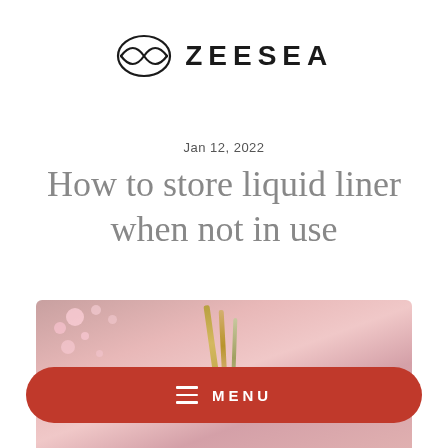[Figure (logo): ZEESEA brand logo with stylized infinity/eye symbol followed by the text ZEESEA in spaced capital letters]
Jan 12, 2022
How to store liquid liner when not in use
[Figure (photo): Pink/rose-toned beauty product photo showing gold liquid liner pens against a soft pink background with cherry blossom decorations]
MENU